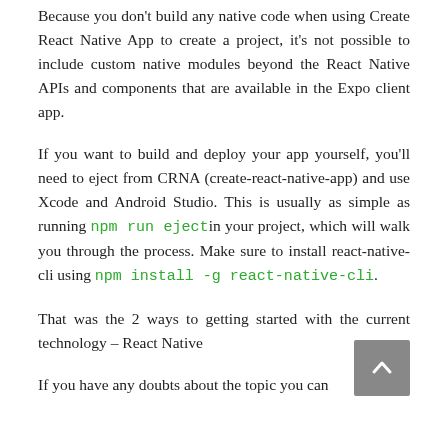Because you don't build any native code when using Create React Native App to create a project, it's not possible to include custom native modules beyond the React Native APIs and components that are available in the Expo client app.
If you want to build and deploy your app yourself, you'll need to eject from CRNA (create-react-native-app) and use Xcode and Android Studio. This is usually as simple as running npm run eject in your project, which will walk you through the process. Make sure to install react-native-cli using npm install -g react-native-cli.
That was the 2 ways to getting started with the current technology – React Native
If you have any doubts about the topic you can